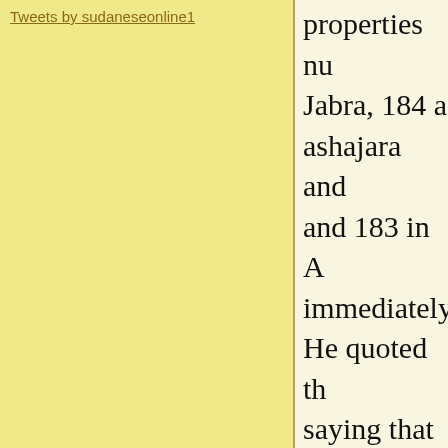Tweets by sudaneseonline1
properties nu... Jabra, 184 a... ashajara and... and 183 in A... immediately... He quoted th... saying that D... wants to sell... immediately... double the c... a buyer was... Some source... the move to... been allege...